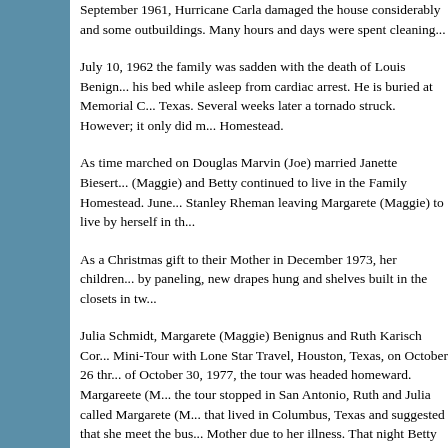September 1961, Hurricane Carla damaged the house considerably and some outbuildings. Many hours and days were spent cleaning...
July 10, 1962 the family was sadden with the death of Louis Benignus who died in his bed while asleep from cardiac arrest. He is buried at Memorial Cemetery in Columbus, Texas. Several weeks later a tornado struck. However; it only did minor damage to the Homestead.
As time marched on Douglas Marvin (Joe) married Janette Biesert... (Maggie) and Betty continued to live in the Family Homestead. June... Stanley Rheman leaving Margarete (Maggie) to live by herself in th...
As a Christmas gift to their Mother in December 1973, her children... by paneling, new drapes hung and shelves built in the closets in tw...
Julia Schmidt, Margarete (Maggie) Benignus and Ruth Karisch Cor... Mini-Tour with Lone Star Travel, Houston, Texas, on October 26 thr... of October 30, 1977, the tour was headed homeward. Margarete (M... the tour stopped in San Antonio, Ruth and Julia called Margarete (M... that lived in Columbus, Texas and suggested that she meet the bus... Mother due to her illness. That night Betty took her Mother to the ho... She suffered a stroke leaving her left side paralyzed. She was unab... Homestead. Nov. 1977, she was moved to a Convalescent Home in... died March 28, 1981 in the Columbus Community Hospital at 4:30...